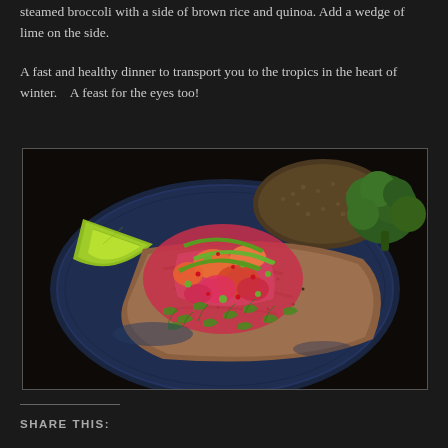steamed broccoli with a side of brown rice and quinoa. Add a wedge of lime on the side.
A fast and healthy dinner to transport you to the tropics in the heart of winter.   A feast for the eyes too!
[Figure (photo): A plated dish of seared fish topped with citrus salsa (grapefruit, orange, herbs, capers), served on a dark blue plate with a lime wedge, steamed broccoli, and brown rice/quinoa.]
SHARE THIS: